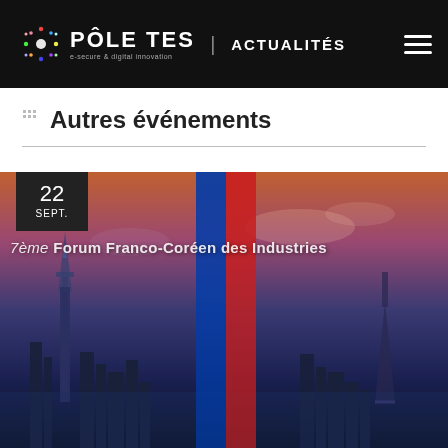PÔLE TES | ACTUALITÉS
Autres événements
[Figure (photo): Event banner image showing city skylines of Seoul and Paris side by side with French and Korean flag stripe overlay, for the 7ème Forum Franco-Coréen des Industries event on 22 September]
7ème Forum Franco-Coréen des Industries